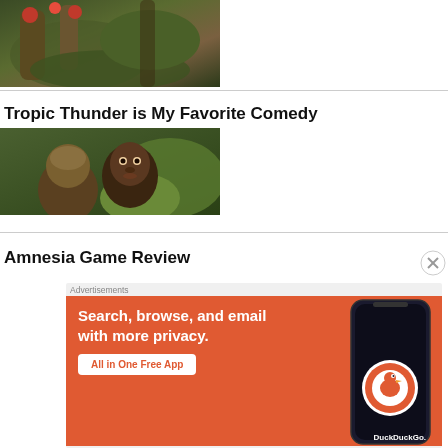[Figure (photo): Jungle/forest scene with mossy tree roots and red flowers]
Tropic Thunder is My Favorite Comedy
[Figure (photo): Two people in a jungle, one looking over shoulder of the other]
Amnesia Game Review
[Figure (screenshot): DuckDuckGo advertisement: Search, browse, and email with more privacy. All in One Free App. Shows phone with DuckDuckGo logo.]